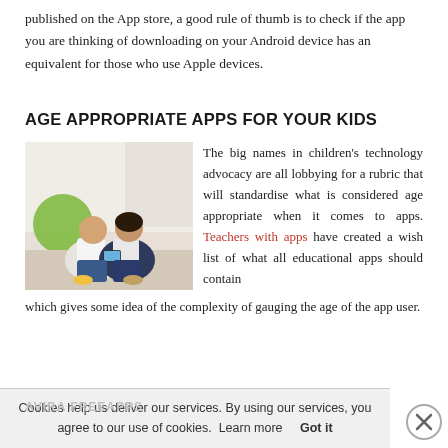published on the App store, a good rule of thumb is to check if the app you are thinking of downloading on your Android device has an equivalent for those who use Apple devices.
AGE APPROPRIATE APPS FOR YOUR KIDS
[Figure (photo): Two children (a boy and a girl) sitting on the floor looking at a smartphone, with a green exercise ball in the background.]
The big names in children's technology advocacy are all lobbying for a rubric that will standardise what is considered age appropriate when it comes to apps. Teachers with apps have created a wish list of what all educational apps should contain which gives some idea of the complexity of gauging the age of the app user.
Cookies help us deliver our services. By using our services, you agree to our use of cookies. Learn more   Got it